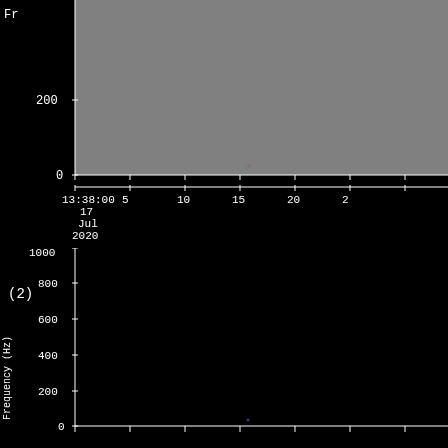[Figure (continuous-plot): Top spectrogram panel (partially visible, clipped at top) showing frequency axis labeled 'Fr' with tick marks at 0 and 200, gray/dark background with faint signal near center. Time axis below shows 13:38:00, 5, 10, 15, 20, 25 minute marks with date labels 17 Jul 2020.]
[Figure (continuous-plot): Bottom spectrogram panel labeled (2) showing Frequency (Hz) on y-axis with ticks at 0, 200, 400, 600, 800, 1000. Mostly black/empty spectrogram with faint signal dot visible near bottom center. X-axis tick marks visible at bottom.]